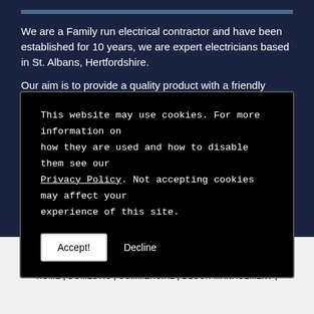[Figure (photo): Top image strip of an electrical/construction scene]
We are a Family run electrical contractor and have been established for 10 years, we are expert electricians based in St. Albans, Hertfordshire.
Our aim is to provide a quality product with a friendly
This website may use cookies. For more information on how they are used and how to disable them see our Privacy Policy. Not accepting cookies may affect your experience of this site.
Accept! Decline
© COPYRIGHT STEVE CHARLES ELECTRICAL LTD 2022. ALL RIGHTS RESERVED
HOME | DOMESTIC | COMMERCIAL | BLOCK MANAGEMENT |